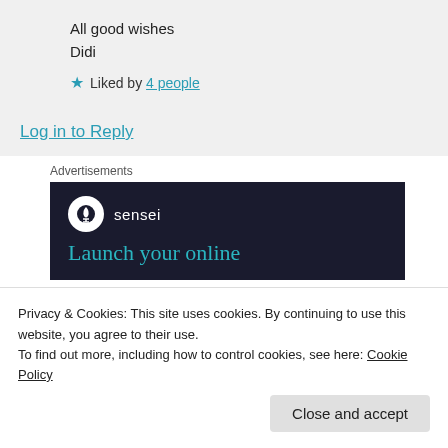All good wishes
Didi
★ Liked by 4 people
Log in to Reply
Advertisements
[Figure (illustration): Sensei advertisement banner with dark navy background, Sensei logo (white circle with tree icon), and teal text reading 'Launch your online']
Privacy & Cookies: This site uses cookies. By continuing to use this website, you agree to their use.
To find out more, including how to control cookies, see here: Cookie Policy
Close and accept